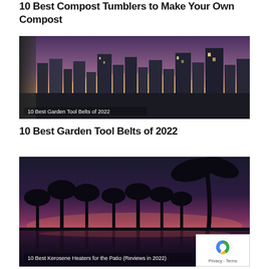10 Best Compost Tumblers to Make Your Own Compost
[Figure (photo): City skyline at dusk/sunset viewed through window, tall buildings silhouetted against purple and yellow sky, with caption '10 Best Garden Tool Belts of 2022']
10 Best Garden Tool Belts of 2022
[Figure (photo): Palm tree silhouettes against a vivid purple-pink sunset sky reflected in water below, with caption '10 Best Kerosene Heaters for the Patio (Reviews in 2022)' and a reCAPTCHA privacy badge in bottom right]